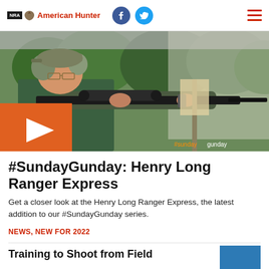NRA American Hunter
[Figure (photo): Man wearing camouflage ear protection and glasses, aiming a lever-action rifle with scope at a shooting range, under a canopy with green trees in background. Orange play button overlay in lower left. Watermark #sundaygunday lower right.]
#SundayGunday: Henry Long Ranger Express
Get a closer look at the Henry Long Ranger Express, the latest addition to our #SundayGunday series.
NEWS, NEW FOR 2022
Training to Shoot from Field